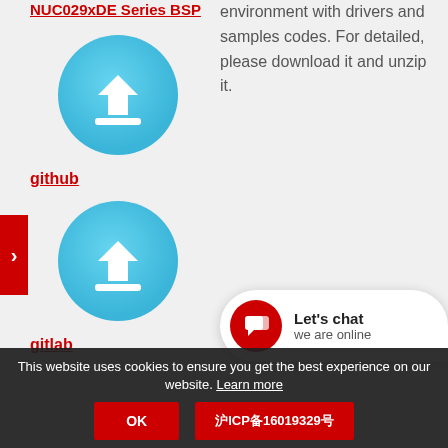NUC029xDE Series BSP
[Figure (illustration): Blue circular download button icon with white downward arrow and horizontal bar]
github
[Figure (illustration): Blue circular download button icon with white downward arrow and horizontal bar]
environment with drivers and samples codes. For detailed, please download it and unzip it.
[Figure (illustration): Red circular chat bubble icon with white speech bubble symbol, Let's chat popup with text 'we are online']
gitlab
This website uses cookies to ensure you get the best experience on our website. Learn more
OK
沪ICP备16019329号